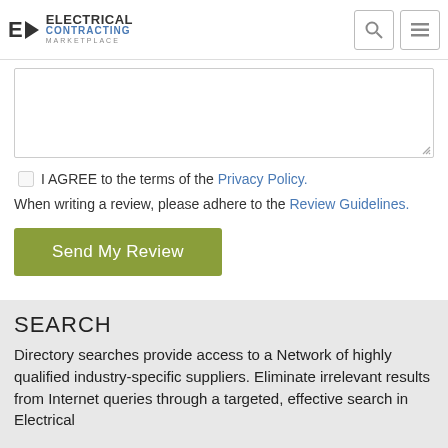ELECTRICAL CONTRACTING MARKETPLACE
(textarea / review input area)
I AGREE to the terms of the Privacy Policy.
When writing a review, please adhere to the Review Guidelines.
Send My Review
SEARCH
Directory searches provide access to a Network of highly qualified industry-specific suppliers. Eliminate irrelevant results from Internet queries through a targeted, effective search in Electrical